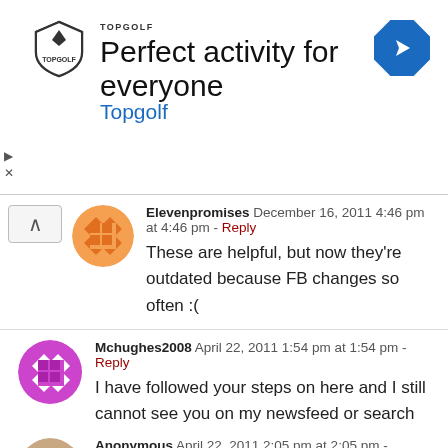[Figure (screenshot): Topgolf advertisement banner with shield logo, text 'Perfect activity for everyone', blue subtitle 'Topgolf', and a blue diamond navigation icon on the right]
Elevenpromises  December 16, 2011 4:46 pm at 4:46 pm - Reply
These are helpful, but now they're outdated because FB changes so often :(
Mchughes2008  April 22, 2011 1:54 pm at 1:54 pm - Reply
I have followed your steps on here and I still cannot see you on my newsfeed or search for you on my FB page!!!
Anonymous  April 22, 2011 2:05 pm at 2:05 pm - Reply